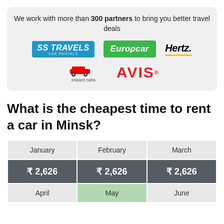We work with more than 300 partners to bring you better travel deals
[Figure (logo): Partner logos: SS Travels Car Rentals, Europcar, Hertz, instant cabs, AVIS]
What is the cheapest time to rent a car in Minsk?
| January | February | March |
| --- | --- | --- |
| ₹ 2,626 | ₹ 2,626 | ₹ 2,626 |
| April | May | June |